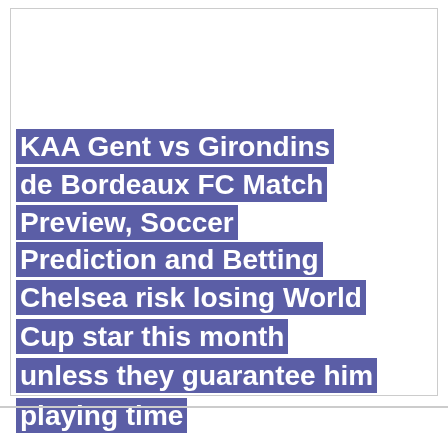KAA Gent vs Girondins de Bordeaux FC Match Preview, Soccer Prediction and Betting Tips
Chelsea risk losing World Cup star this month unless they guarantee him playing time